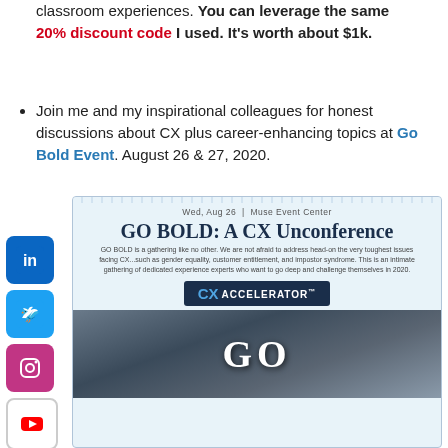classroom experiences. You can leverage the same 20% discount code I used. It's worth about $1k.
Join me and my inspirational colleagues for honest discussions about CX plus career-enhancing topics at Go Bold Event. August 26 & 27, 2020.
[Figure (infographic): Event flyer for GO BOLD: A CX Unconference at Muse Event Center on Wed, Aug 26, featuring CX Accelerator logo and a background photo with large GO text]